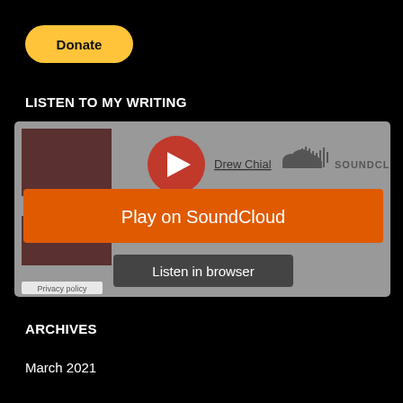[Figure (other): PayPal Donate button, yellow rounded rectangle with bold black text 'Donate']
LISTEN TO MY WRITING
[Figure (screenshot): SoundCloud embedded player with orange 'Play on SoundCloud' button, 'Listen in browser' dark button, Drew Chial profile link, SoundCloud logo, album art thumbnail, and Privacy policy link]
ARCHIVES
March 2021